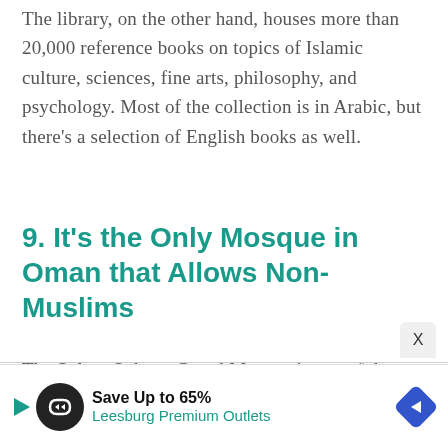The library, on the other hand, houses more than 20,000 reference books on topics of Islamic culture, sciences, fine arts, philosophy, and psychology. Most of the collection is in Arabic, but there's a selection of English books as well.
9. It's the Only Mosque in Oman that Allows Non-Muslims
The Sultan Qaboos Grand Mosque is one of the only mosques in Oman that welcomes non-Muslim visitors, so long as they obey the rules when entering and exploring the area.
[Figure (other): Advertisement banner: Save Up to 65% at Leesburg Premium Outlets, with a circular logo icon and a blue diamond-shaped arrow button]